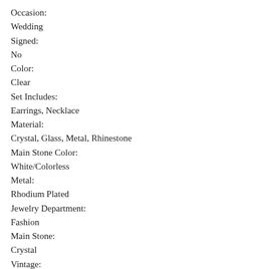Occasion:
Wedding
Signed:
No
Color:
Clear
Set Includes:
Earrings, Necklace
Material:
Crystal, Glass, Metal, Rhinestone
Main Stone Color:
White/Colorless
Metal:
Rhodium Plated
Jewelry Department:
Fashion
Main Stone:
Crystal
Vintage:
Yes
Brand:
Unbranded
Type:
Jewelry Set
Department: